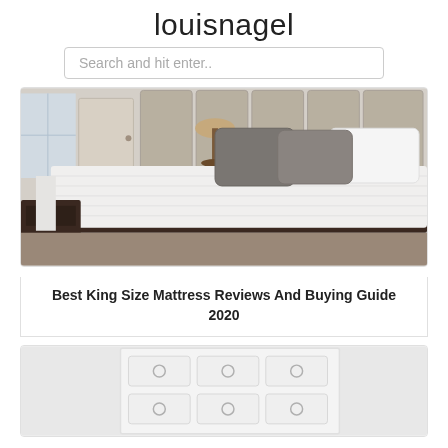louisnagel
Search and hit enter..
[Figure (photo): Bedroom scene showing a king size mattress with white quilted surface on a dark brown base, with grey and white decorative pillows and a beige upholstered headboard. Brown nightstand with lamp visible on left side.]
Best King Size Mattress Reviews And Buying Guide 2020
[Figure (photo): Partial view of a white dresser/chest of drawers with circular drawer pulls arranged in a 3x2 grid pattern.]